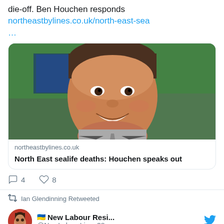die-off. Ben Houchen responds northeastbylines.co.uk/north-east-sea …
[Figure (photo): Photo of a smiling man in a suit at an event, with green background and crowd visible]
northeastbylines.co.uk
North East sealife deaths: Houchen speaks out
4 comments, 8 likes
Ian Glendinning Retweeted
🇺🇦 New Labour Resi... @NewLabourLi... · 38m